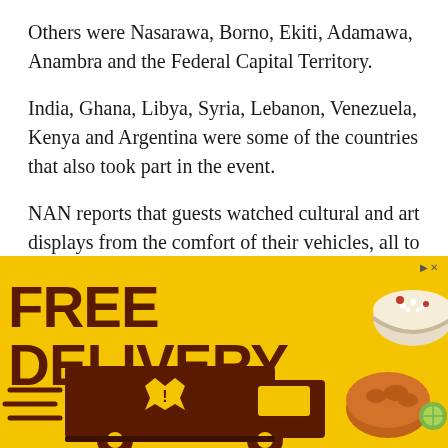Others were Nasarawa, Borno, Ekiti, Adamawa, Anambra and the Federal Capital Territory.
India, Ghana, Libya, Syria, Lebanon, Venezuela, Kenya and Argentina were some of the countries that also took part in the event.
NAN reports that guests watched cultural and art displays from the comfort of their vehicles, all to ensure compliance with COVID-19 pandemic safety protocols.
[Figure (infographic): Advertisement banner with yellow background showing 'FREE DELIVERY' in large dark brown text, a delivery truck SVG illustration with speed lines, and food images (rice bowl and fried chicken) on the right side.]